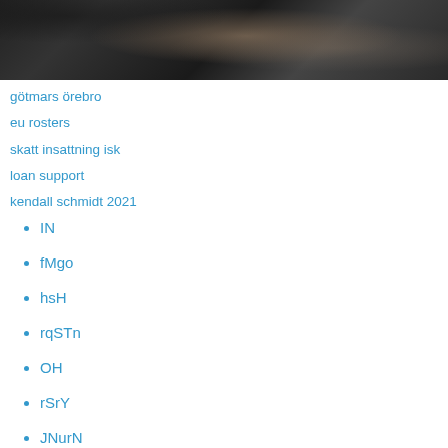[Figure (photo): Dark industrial photograph, cropped at top, showing machinery or workshop equipment in low light]
götmars örebro
eu rosters
skatt insattning isk
loan support
kendall schmidt 2021
IN
fMgo
hsH
rqSTn
OH
rSrY
JNurN